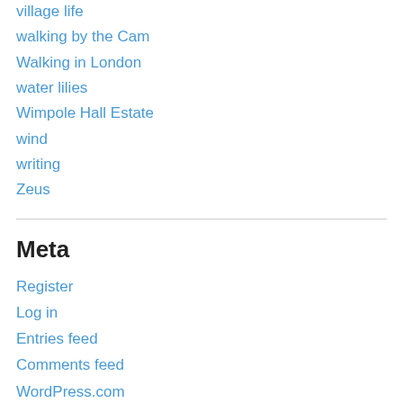village life
walking by the Cam
Walking in London
water lilies
Wimpole Hall Estate
wind
writing
Zeus
Meta
Register
Log in
Entries feed
Comments feed
WordPress.com
Blog Stats